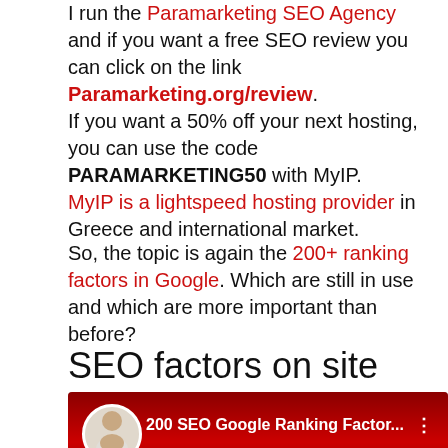I run the Paramarketing SEO Agency and if you want a free SEO review you can click on the link Paramarketing.org/review.
If you want a 50% off your next hosting, you can use the code PARAMARKETING50 with MyIP. MyIP is a lightspeed hosting provider in Greece and international market.
So, the topic is again the 200+ ranking factors in Google. Which are still in use and which are more important than before?
SEO factors on site
[Figure (screenshot): YouTube video thumbnail showing '200 SEO Google Ranking Factor...' with a man avatar, red background, yellow large numbers '200', a red dice, and a red scroll-to-top button.]